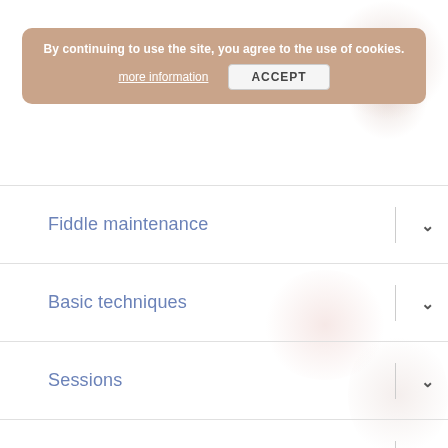By continuing to use the site, you agree to the use of cookies.
more information
ACCEPT
Fiddle maintenance
Basic techniques
Sessions
Fiddles in Scotland
Sheet music
Contact